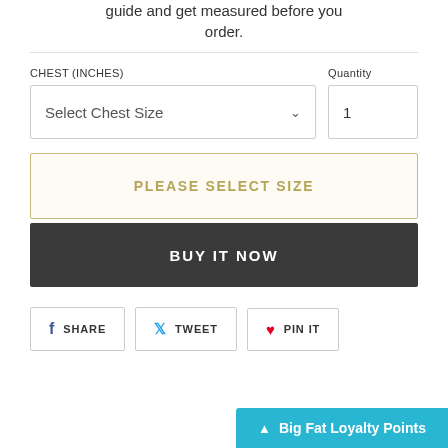guide and get measured before you order.
CHEST (INCHES)
Quantity
Select Chest Size
1
PLEASE SELECT SIZE
BUY IT NOW
SHARE
TWEET
PIN IT
Big Fat Loyalty Points